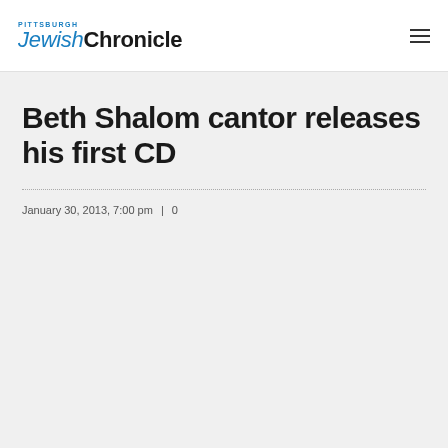Pittsburgh Jewish Chronicle
Beth Shalom cantor releases his first CD
January 30, 2013, 7:00 pm  |  0